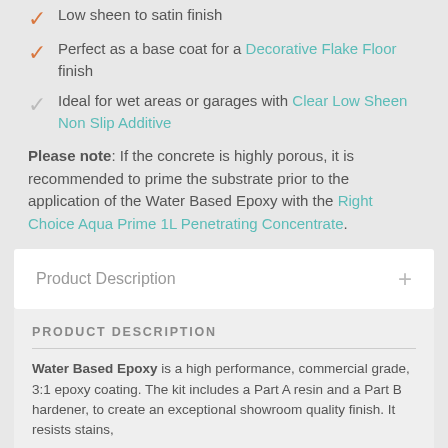Low sheen to satin finish
Perfect as a base coat for a Decorative Flake Floor finish
Ideal for wet areas or garages with Clear Low Sheen Non Slip Additive
Please note: If the concrete is highly porous, it is recommended to prime the substrate prior to the application of the Water Based Epoxy with the Right Choice Aqua Prime 1L Penetrating Concentrate.
Product Description
PRODUCT DESCRIPTION
Water Based Epoxy is a high performance, commercial grade, 3:1 epoxy coating. The kit includes a Part A resin and a Part B hardener, to create an exceptional showroom quality finish. It resists stains,